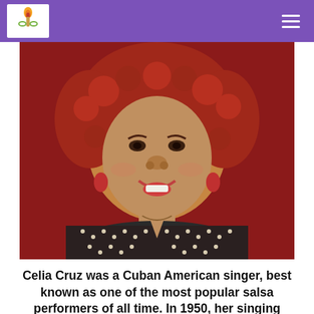[Figure (photo): Portrait photograph of Celia Cruz, a woman with curly red hair, wearing a patterned black and white jacket, smiling against a red background.]
Celia Cruz was a Cuban American singer, best known as one of the most popular salsa performers of all time. In 1950, her singing career started its